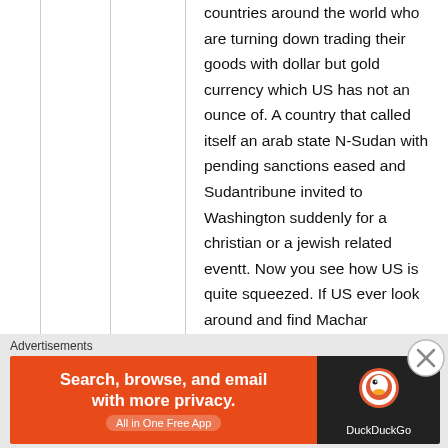countries around the world who are turning down trading their goods with dollar but gold currency which US has not an ounce of. A country that called itself an arab state N-Sudan with pending sanctions eased and Sudantribune invited to Washington suddenly for a christian or a jewish related eventt. Now you see how US is quite squeezed. If US ever look around and find Machar
[Figure (other): Advertisement banner: DuckDuckGo app ad with orange background on left reading 'Search, browse, and email with more privacy. All in One Free App' and dark background on right with DuckDuckGo logo and text.]
Advertisements